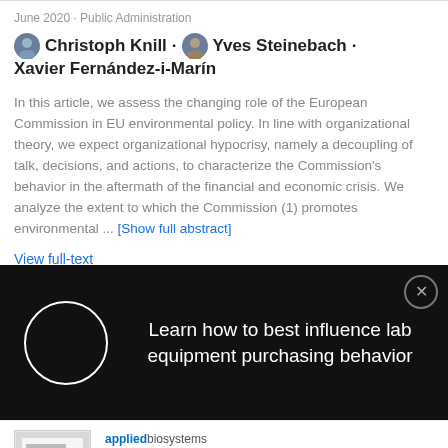June 2020 · Public Administration
Christoph Knill · Yves Steinebach · Xavier Fernández-i-Marín
In this article, we assess the changing role of the European Commission in EU environmental policy. In line with organizational theory, we expect organizational hypocrisy, namely a decoupling of talk, decisions, and actions, to characterize the Commission's behavior in the aftermath of the financial and economic crisis. We analyze the extent to which the Commission (1) promotes environmental ... [Show full abstract]
View full-text
[Figure (screenshot): Black advertisement overlay with circle spinner graphic and text: Learn how to best influence lab equipment purchasing behavior, with a close button]
[Figure (screenshot): Bottom advertisement card showing Applied Biosystems logo and text: Real-Time PCR Handbook 2.0 digital experience, with document thumbnail]